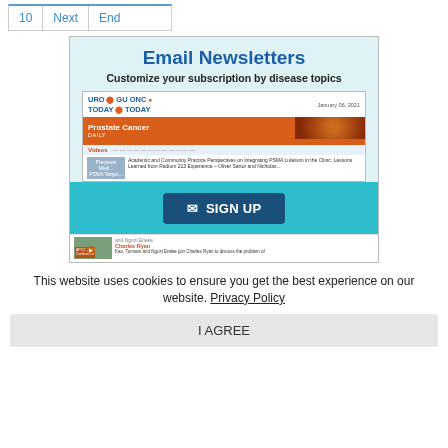10  Next  End
[Figure (screenshot): Email Newsletters advertisement showing a newsletter preview with 'Email Newsletters - Customize your subscription by disease topics' header, a preview of a Prostate Cancer Daily newsletter dated January 06, 2021 with Videos section and a Sign Up button on teal background]
This website uses cookies to ensure you get the best experience on our website. Privacy Policy
I AGREE